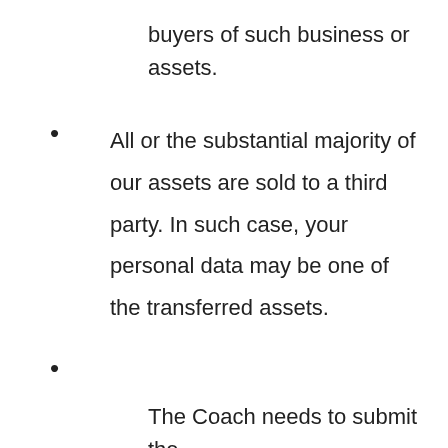buyers of such business or assets.
All or the substantial majority of our assets are sold to a third party. In such case, your personal data may be one of the transferred assets.
The Coach needs to submit the